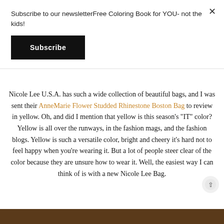Subscribe to our newsletterFree Coloring Book for YOU- not the kids!
Subscribe
Nicole Lee U.S.A. has such a wide collection of beautiful bags, and I was sent their AnneMarie Flower Studded Rhinestone Boston Bag to review in yellow. Oh, and did I mention that yellow is this season's "IT" color? Yellow is all over the runways, in the fashion mags, and the fashion blogs. Yellow is such a versatile color, bright and cheery it's hard not to feel happy when you're wearing it. But a lot of people steer clear of the color because they are unsure how to wear it. Well, the easiest way I can think of is with a new Nicole Lee Bag.